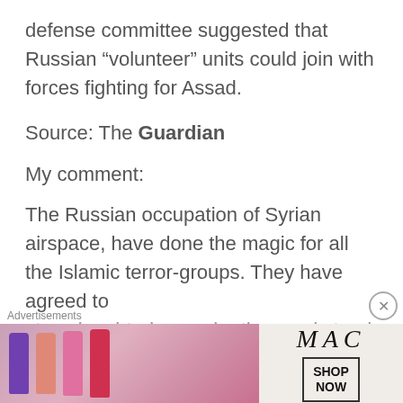defense committee suggested that Russian “volunteer” units could join with forces fighting for Assad.
Source: The Guardian
My comment:
The Russian occupation of Syrian airspace, have done the magic for all the Islamic terror-groups. They have agreed to stop slaughtering each other, and stand
[Figure (advertisement): MAC cosmetics advertisement showing lipsticks and a SHOP NOW button]
Advertisements